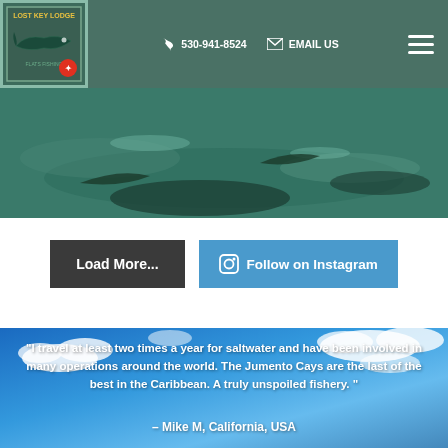Lost Key Lodge | 530-941-8524 | EMAIL US
[Figure (photo): Fishing photo strip showing fish/water scene with teal-green tones]
Load More...
Follow on Instagram
"I travel at least two times a year for saltwater and have been involved in many operations around the world. The Jumento Cays are the last of the best in the Caribbean. A truly unspoiled fishery. "
– Mike M, California, USA